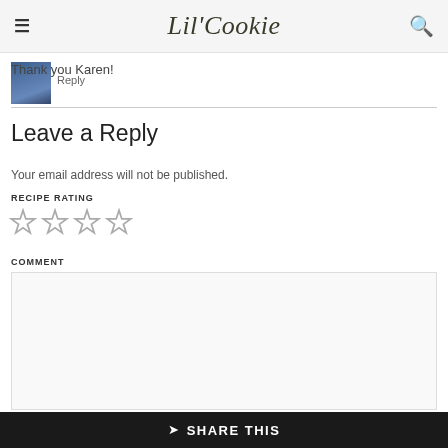Lil'Cookie
[Figure (photo): Small thumbnail image of a person wearing a dark denim outfit]
Reply
Thank you Karen!
Leave a Reply
Your email address will not be published.
RECIPE RATING
[Figure (other): Four empty star rating icons]
COMMENT
[Figure (other): Empty comment text area input box]
SHARE THIS